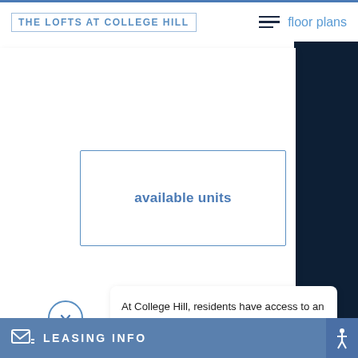THE LOFTS AT COLLEGE HILL | floor plans
[Figure (screenshot): Available units button inside a white card panel with dark navy L-shaped background]
available units
At College Hill, residents have access to an array of convenient amenities that
LEASING INFO